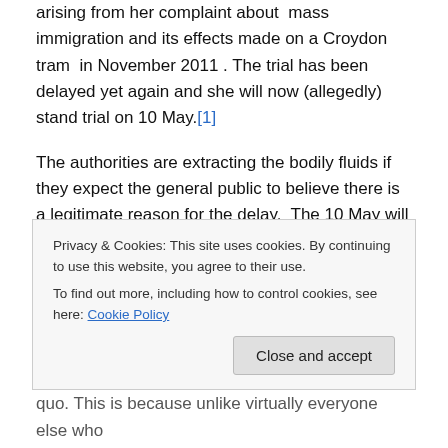arising from her complaint about mass immigration and its effects made on a Croydon tram in November 2011 . The trial has been delayed yet again and she will now (allegedly) stand trial on 10 May.[1]
The authorities are extracting the bodily fluids if they expect the general public to believe there is a legitimate reason for the delay.  The 10 May will be the sixth (yes, that is the sixth) trial date Ms West has been given since she was arrested .  By 10 May she will have been waiting to be tried for just short of eighteen months. The delay  is
Privacy & Cookies: This site uses cookies. By continuing to use this website, you agree to their use.
To find out more, including how to control cookies, see here: Cookie Policy
quo. This is because unlike virtually everyone else who